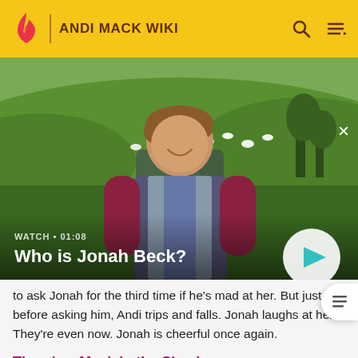ANDI MACK WIKI
[Figure (screenshot): Video thumbnail showing a smiling teenage boy outdoors on a green grassy hillside with sheep in the background. Overlay text reads 'WATCH • 01:08' and 'Who is Jonah Beck?' with a circular play button on the right.]
to ask Jonah for the third time if he's mad at her. But just before asking him, Andi trips and falls. Jonah laughs at her. They're even now. Jonah is cheerful once again.
There's a Mack in the Shack
While at The Snoop Diner with Bex and CeCe, Andi notices